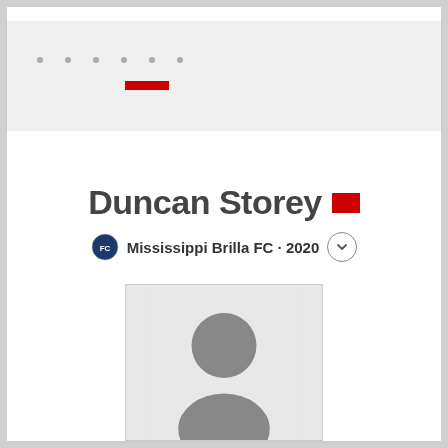[Figure (screenshot): Navigation bar with dots and a red horizontal bar indicating a loading or placeholder state]
Duncan Storey
Mississippi Brilla FC · 2020
[Figure (photo): Default user profile photo placeholder with grey silhouette of a person on light grey background]